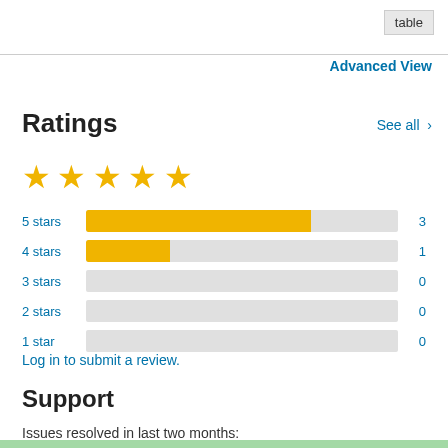table
Advanced View
Ratings
See all >
[Figure (other): Five gold stars rating display]
[Figure (bar-chart): Star ratings breakdown]
Log in to submit a review.
Support
Issues resolved in last two months: